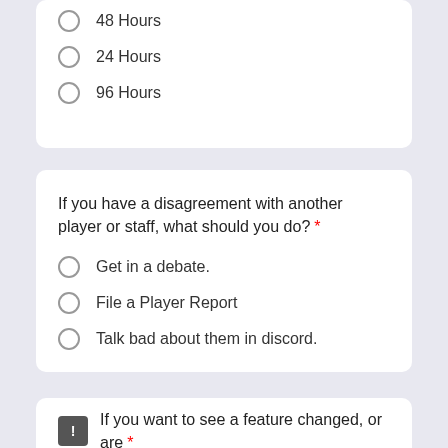48 Hours
24 Hours
96 Hours
If you have a disagreement with another player or staff, what should you do? *
Get in a debate.
File a Player Report
Talk bad about them in discord.
If you want to see a feature changed, or are *